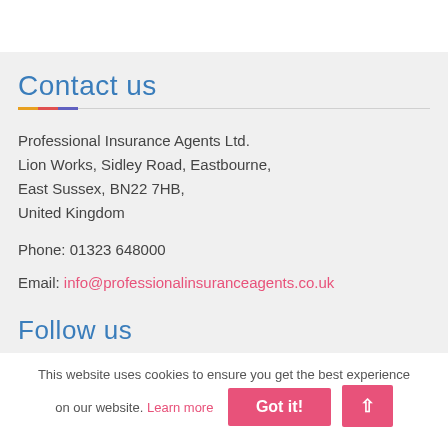Contact us
Professional Insurance Agents Ltd.
Lion Works, Sidley Road, Eastbourne,
East Sussex, BN22 7HB,
United Kingdom
Phone: 01323 648000
Email: info@professionalinsuranceagents.co.uk
Follow us
This website uses cookies to ensure you get the best experience on our website. Learn more